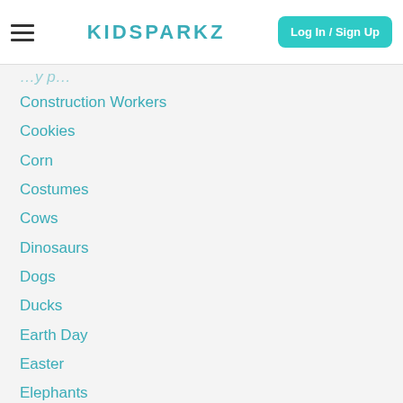KIDSPARKZ | Log In / Sign Up
Construction Workers
Cookies
Corn
Costumes
Cows
Dinosaurs
Dogs
Ducks
Earth Day
Easter
Elephants
Fairy Tales
Fall
Family
Farm
Father's Day
Forest Animals
Fish